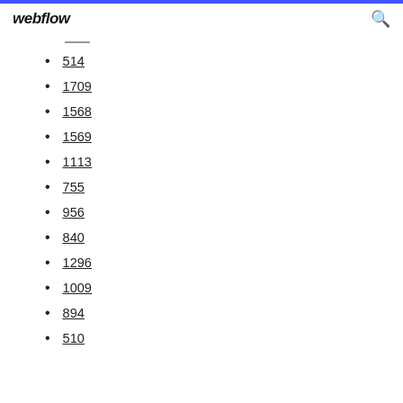webflow
514
1709
1568
1569
1113
755
956
840
1296
1009
894
510